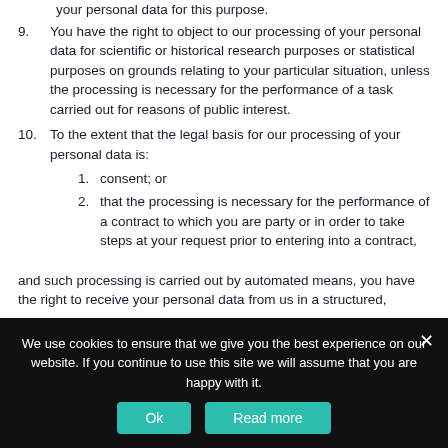your personal data for this purpose.
9. You have the right to object to our processing of your personal data for scientific or historical research purposes or statistical purposes on grounds relating to your particular situation, unless the processing is necessary for the performance of a task carried out for reasons of public interest.
10. To the extent that the legal basis for our processing of your personal data is:
1. consent; or
2. that the processing is necessary for the performance of a contract to which you are party or in order to take steps at your request prior to entering into a contract,
and such processing is carried out by automated means, you have the right to receive your personal data from us in a structured,
We use cookies to ensure that we give you the best experience on our website. If you continue to use this site we will assume that you are happy with it.